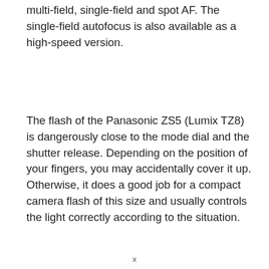multi-field, single-field and spot AF. The single-field autofocus is also available as a high-speed version.
The flash of the Panasonic ZS5 (Lumix TZ8) is dangerously close to the mode dial and the shutter release. Depending on the position of your fingers, you may accidentally cover it up. Otherwise, it does a good job for a compact camera flash of this size and usually controls the light correctly according to the situation.